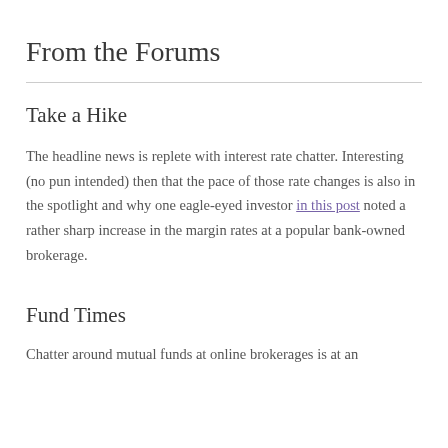From the Forums
Take a Hike
The headline news is replete with interest rate chatter. Interesting (no pun intended) then that the pace of those rate changes is also in the spotlight and why one eagle-eyed investor in this post noted a rather sharp increase in the margin rates at a popular bank-owned brokerage.
Fund Times
Chatter around mutual funds at online brokerages is at an